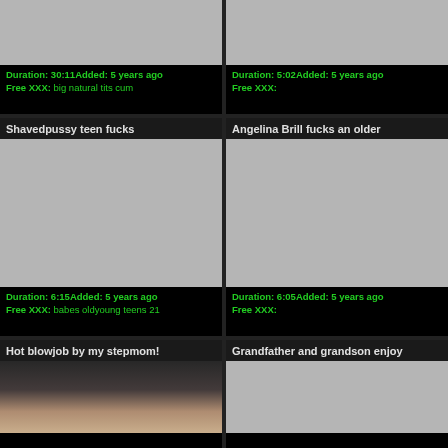[Figure (screenshot): Video thumbnail placeholder gray]
Duration: 30:11Added: 5 years ago
Free XXX: big natural tits cum
[Figure (screenshot): Video thumbnail placeholder gray]
Duration: 5:02Added: 5 years ago
Free XXX:
Shavedpussy teen fucks
Angelina Brill fucks an older
[Figure (screenshot): Video thumbnail placeholder gray]
Duration: 6:15Added: 5 years ago
Free XXX: babes oldyoung teens 21
[Figure (screenshot): Video thumbnail placeholder gray]
Duration: 6:05Added: 5 years ago
Free XXX:
Hot blowjob by my stepmom!
Grandfather and grandson enjoy
[Figure (photo): Video thumbnail showing person]
[Figure (screenshot): Video thumbnail placeholder gray]